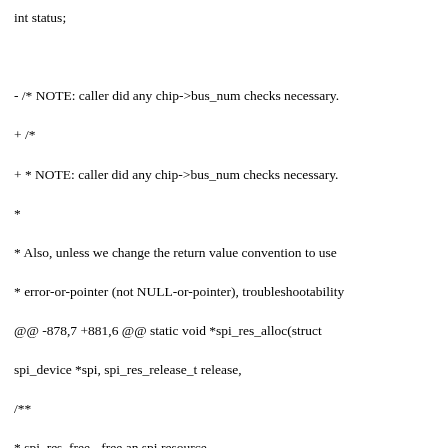int status;
- /* NOTE: caller did any chip->bus_num checks necessary.
+ /*
+ * NOTE: caller did any chip->bus_num checks necessary.
*
* Also, unless we change the return value convention to use
* error-or-pointer (not NULL-or-pointer), troubleshootability
@@ -878,7 +881,6 @@ static void *spi_res_alloc(struct spi_device *spi, spi_res_release_t release,
/**
* spi_res_free - free an spi resource
* @res: pointer to the custom data of a resource
- *
*/
static void spi_res_free(void *res)
{
@@ -973,7 +975,7 @@ static void spi_set_cs(struct spi_device *spi, bool enable, bool force)
gpiod_set_value_cansleep(spi->cs_gpiod, activate);
} else {
/*
- * invert the enable line, as active low is
+ * Invert the enable line, as active low is
* default for SPI.
*/